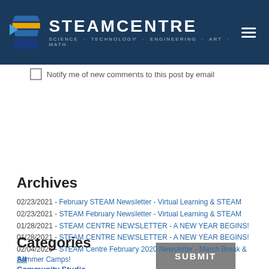STEAMCENTRE SCIENCE · TECHNOLOGY · ENGINEERING · ART · MATH
Notify me of new comments to this post by email
SUBMIT
Archives
02/23/2021 - February STEAM Newsletter - Virtual Learning & STEAM
02/23/2021 - STEAM February Newsletter - Virtual Learning & STEAM
01/28/2021 - STEAM CENTRE NEWSLETTER - A NEW YEAR BEGINS!
01/28/2021 - STEAM CENTRE NEWSLETTER - A NEW YEAR BEGINS!
02/04/2020 - STEAM Centre February 2020 Newsletter - March Break & Summer Camps!
Categories
All
Community Studio